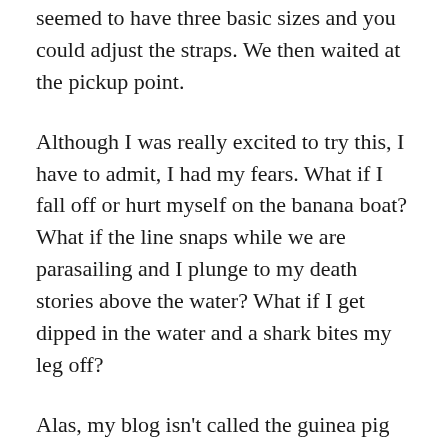seemed to have three basic sizes and you could adjust the straps. We then waited at the pickup point.
Although I was really excited to try this, I have to admit, I had my fears. What if I fall off or hurt myself on the banana boat? What if the line snaps while we are parasailing and I plunge to my death stories above the water? What if I get dipped in the water and a shark bites my leg off?
Alas, my blog isn't called the guinea pig traveler for nothing! I knew I had to push through my fear and go for it or I would regret not trying parasailing. It was a big test for me. The moment the jet ski arrived and they gestured for us to board the banana boat, there was no going back.
I had read that riding the banana boat can be